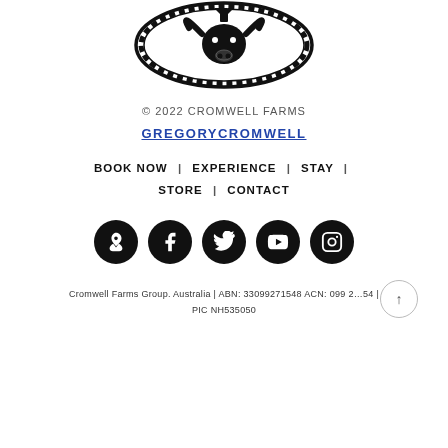[Figure (logo): Cromwell Farms circular logo — black ink illustration of a bull/longhorn head inside a circular badge with decorative rope/swirl border]
© 2022 CROMWELL FARMS
GREGORYCROMWELL
BOOK NOW  |  EXPERIENCE  |  STAY  |  STORE  |  CONTACT
[Figure (infographic): Row of 5 black circular social media icons: Airbnb, Facebook, Twitter, YouTube, Instagram]
Cromwell Farms Group. Australia | ABN: 33099271548 ACN: 099 2…54 | PIC NH535050